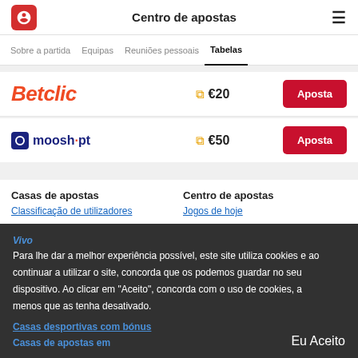Centro de apostas
Tabelas
[Figure (logo): Betclic logo with €20 bonus and Aposta button]
[Figure (logo): moosh.pt logo with €50 bonus and Aposta button]
Casas de apostas
Centro de apostas
Classificação de utilizadores
Jogos de hoje
Para lhe dar a melhor experiência possível, este site utiliza cookies e ao continuar a utilizar o site, concorda que os podemos guardar no seu dispositivo. Ao clicar em "Aceito", concorda com o uso de cookies, a menos que as tenha desativado.
Vivo
Casas desportivas com bónus
Casas de apostas em
Eu Aceito